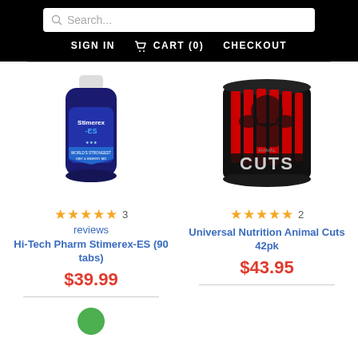Search... | SIGN IN | CART (0) | CHECKOUT
[Figure (photo): Bottle of Hi-Tech Pharmaceuticals Stimerex-ES supplement, dark blue bottle with white cap]
★★★★★ 3 reviews
Hi-Tech Pharm Stimerex-ES (90 tabs)
$39.99
[Figure (photo): Can of Universal Nutrition Animal Cuts 42pk, black can with red muscular figure graphic]
★★★★★ 2
Universal Nutrition Animal Cuts 42pk
$43.95